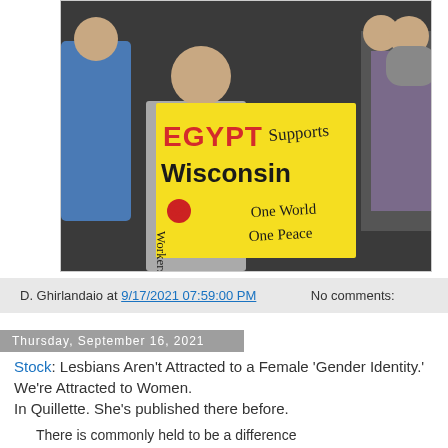[Figure (photo): Person holding a yellow sign that reads 'EGYPT Supports Wisconsin One World One Peace' at a crowd gathering]
D. Ghirlandaio at 9/17/2021 07:59:00 PM    No comments:
Thursday, September 16, 2021
Stock: Lesbians Aren't Attracted to a Female 'Gender Identity.' We're Attracted to Women.
In Quillette. She's published there before.
There is commonly held to be a difference